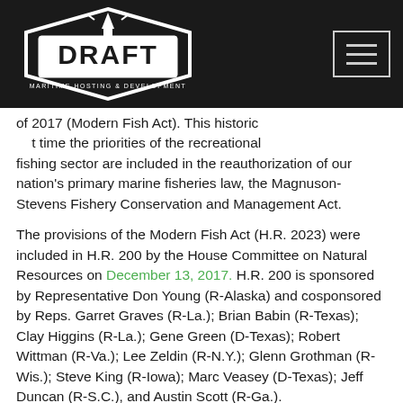DRAFT Maritime Hosting & Development logo and navigation
of 2017 (Modern Fish Act). This historic [first] time the priorities of the recreational fishing sector are included in the reauthorization of our nation's primary marine fisheries law, the Magnuson-Stevens Fishery Conservation and Management Act.
The provisions of the Modern Fish Act (H.R. 2023) were included in H.R. 200 by the House Committee on Natural Resources on December 13, 2017. H.R. 200 is sponsored by Representative Don Young (R-Alaska) and cosponsored by Reps. Garret Graves (R-La.); Brian Babin (R-Texas); Clay Higgins (R-La.); Gene Green (D-Texas); Robert Wittman (R-Va.); Lee Zeldin (R-N.Y.); Glenn Grothman (R-Wis.); Steve King (R-Iowa); Marc Veasey (D-Texas); Jeff Duncan (R-S.C.), and Austin Scott (R-Ga.).
"Marine recreational fishing is not a partisan issue, which was illustrated by the support H.R. 200 received from both parties today in the House," said Jeff Angers, president of